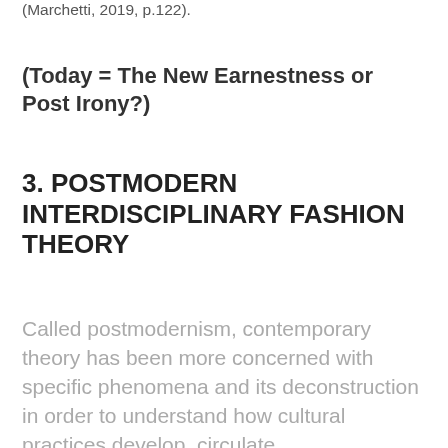(Marchetti, 2019, p.122).
(Today = The New Earnestness or Post Irony?)
3. POSTMODERN INTERDISCIPLINARY FASHION THEORY
Called postmodernism, contemporary theory has been more concerned with specific phenomena and its deconstruction in order to understand how cultural practices develop, circulate, and how are maintained. This lens results in i